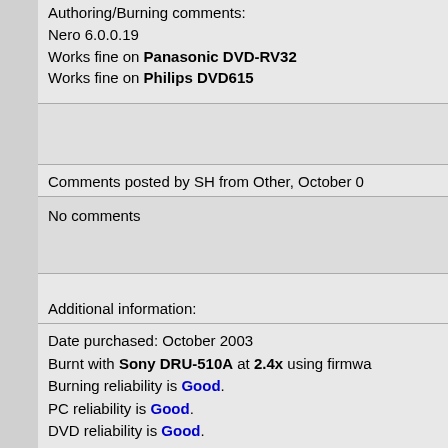Authoring/Burning comments:
Nero 6.0.0.19
Works fine on Panasonic DVD-RV32
Works fine on Philips DVD615
Comments posted by SH from Other, October 0
No comments
Additional information:
Date purchased: October 2003
Burnt with Sony DRU-510A at 2.4x using firmwa
Burning reliability is Good.
PC reliability is Good.
DVD reliability is Good.
Media color is Silver Green.
Media text is Verbatim DataLifePlus 4.7 GB.
Authoring/Burning comments: